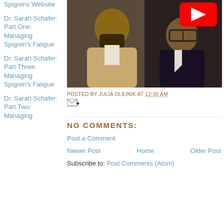Sjogrens Website
Dr. Sarah Schafer: Part One: Managing Sjogren's Fatigue
Dr. Sarah Schafer: Part Three: Managing Sjogren's Fatigue
Dr. Sarah Schafer: Part Two: Managing
[Figure (photo): YouTube video thumbnail showing two people, one with a beard in a tan jacket, another with large glasses. A red YouTube play button is visible in the top right corner.]
POSTED BY JULIA OLEINIK AT 12:30 AM
NO COMMENTS:
Post a Comment
Newer Post   Home   Older Post
Subscribe to: Post Comments (Atom)